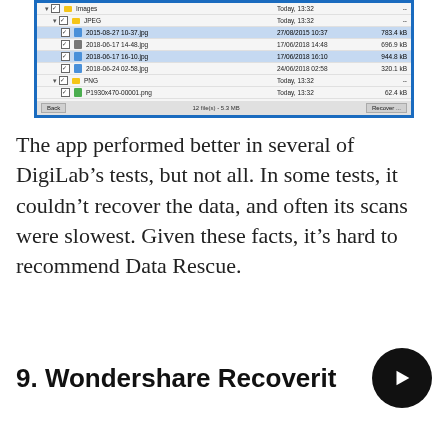[Figure (screenshot): Screenshot of a file recovery application showing a file tree with Images and JPEG/PNG files listed with dates and file sizes. A toolbar at the bottom shows '12 file(s) - 5.3 MB' and a 'Recover...' button.]
The app performed better in several of DigiLab's tests, but not all. In some tests, it couldn't recover the data, and often its scans were slowest. Given these facts, it's hard to recommend Data Rescue.
9. Wondershare Recoverit